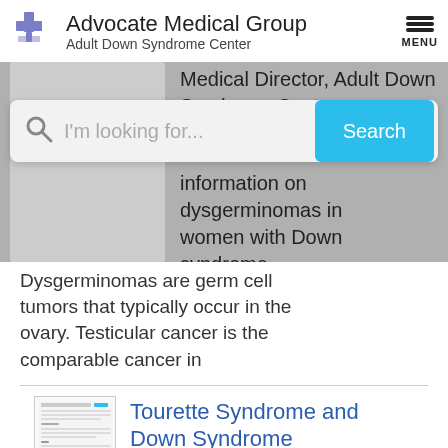Advocate Medical Group Adult Down Syndrome Center
Medical Director, Adult Down Syndrome Center
I'm looking for...
information on dysgerminomas in women with Down syndrome. Dysgerminomas are germ cell tumors that typically occur in the ovary. Testicular cancer is the comparable cancer in
Tourette Syndrome and Down Syndrome